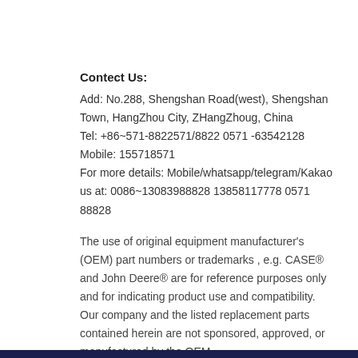Contect Us:
Add: No.288, Shengshan Road(west), Shengshan Town, HangZhou City, ZHangZhoug, China
Tel: +86~571-8822571/8822 0571 -63542128
Mobile: 155718571
For more details: Mobile/whatsapp/telegram/Kakao us at: 0086~13083988828 13858117778 0571 88828
The use of original equipment manufacturer's (OEM) part numbers or trademarks , e.g. CASE® and John Deere® are for reference purposes only and for indicating product use and compatibility. Our company and the listed replacement parts contained herein are not sponsored, approved, or manufactured by the OEM.